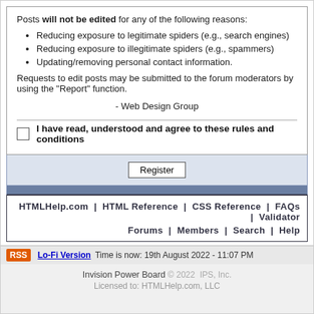Posts will not be edited for any of the following reasons:
Reducing exposure to legitimate spiders (e.g., search engines)
Reducing exposure to illegitimate spiders (e.g., spammers)
Updating/removing personal contact information.
Requests to edit posts may be submitted to the forum moderators by using the "Report" function.
- Web Design Group
I have read, understood and agree to these rules and conditions
Register
HTMLHelp.com | HTML Reference | CSS Reference | FAQs | Validator  Forums | Members | Search | Help
RSS  Lo-Fi Version  Time is now: 19th August 2022 - 11:07 PM
Invision Power Board © 2022  IPS, Inc.
Licensed to: HTMLHelp.com, LLC